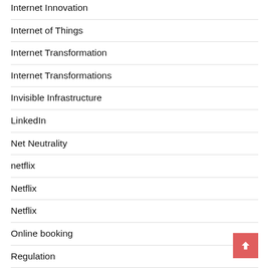Internet Innovation
Internet of Things
Internet Transformation
Internet Transformations
Invisible Infrastructure
LinkedIn
Net Neutrality
netflix
Netflix
Netflix
Online booking
Regulation
Search Engine
Shared Economy